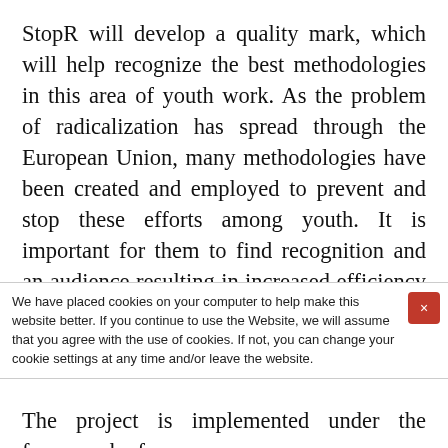StopR will develop a quality mark, which will help recognize the best methodologies in this area of youth work. As the problem of radicalization has spread through the European Union, many methodologies have been created and employed to prevent and stop these efforts among youth. It is important for them to find recognition and an audience resulting in increased efficiency (as youth workers start using the established good practices
We have placed cookies on your computer to help make this website better. If you continue to use the Website, we will assume that you agree with the use of cookies. If not, you can change your cookie settings at any time and/or leave the website.
The project is implemented under the framework of